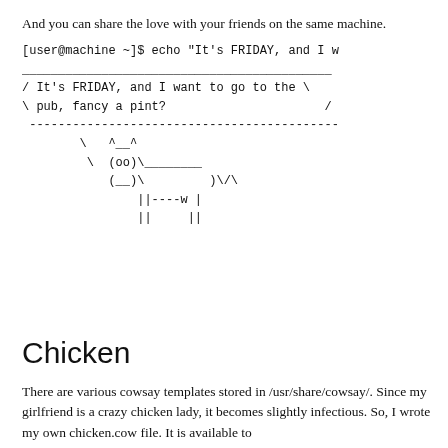And you can share the love with your friends on the same machine.
[user@machine ~]$ echo "It's FRIDAY, and I w
___________________________________________
/ It's FRIDAY, and I want to go to the \
\ pub, fancy a pint?                      /
 -------------------------------------------
        \   ^__^
         \  (oo)\________
            (__)\         )\/\
                ||----w |
                ||     ||
Chicken
There are various cowsay templates stored in /usr/share/cowsay/. Since my girlfriend is a crazy chicken lady, it becomes slightly infectious. So, I wrote my own chicken.cow file. It is available to